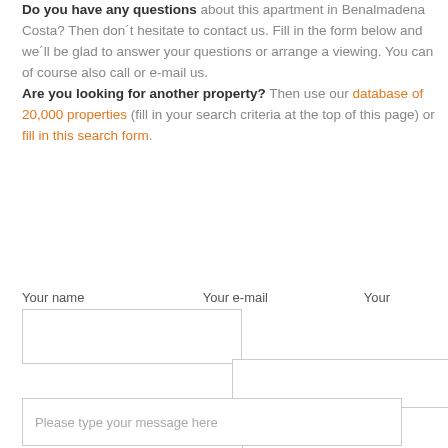Do you have any questions about this apartment in Benalmadena Costa? Then don´t hesitate to contact us. Fill in the form below and we´ll be glad to answer your questions or arrange a viewing. You can of course also call or e-mail us. Are you looking for another property? Then use our database of 20,000 properties (fill in your search criteria at the top of this page) or fill in this search form.
Your name   Your e-mail   Your
[Figure (other): Web form with three input fields (name, email, phone) and a message textarea with placeholder text 'Please type your message here']